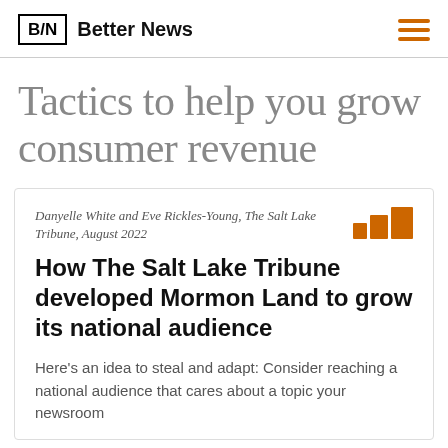B/N Better News
Tactics to help you grow consumer revenue
Danyelle White and Eve Rickles-Young, The Salt Lake Tribune, August 2022
How The Salt Lake Tribune developed Mormon Land to grow its national audience
Here's an idea to steal and adapt: Consider reaching a national audience that cares about a topic your newsroom